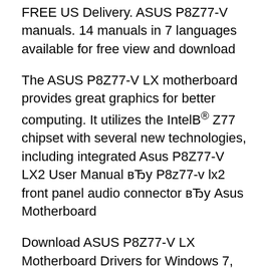FREE US Delivery. ASUS P8Z77-V manuals. 14 manuals in 7 languages available for free view and download
The ASUS P8Z77-V LX motherboard provides great graphics for better computing. It utilizes the IntelB® Z77 chipset with several new technologies, including integrated Asus P8Z77-V LX2 User Manual вЂу P8z77-v lx2 front panel audio connector вЂу Asus Motherboard
Download ASUS P8Z77-V LX Motherboard Drivers for Windows 7, 8.1, 10, Just update ASUS P8Z77-V LX Motherboard drivers for your device now! ASUS P8Z77-V manuals. 14 manuals in 7 languages available for free view and download
Find more about Asus P8z77-v pro spec sheet and...